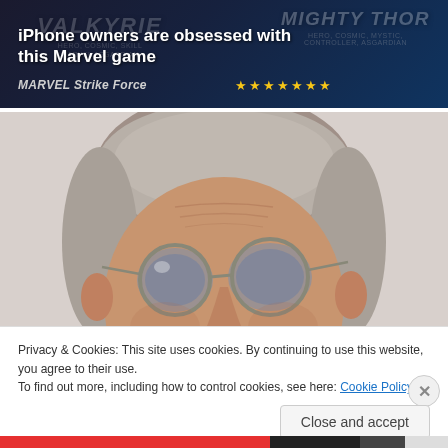[Figure (screenshot): Advertisement banner for MARVEL Strike Force mobile game, dark blue background with character art and text 'iPhone owners are obsessed with this Marvel game' and 'MARVEL Strike Force' subtitle with star rating]
[Figure (photo): Close-up photo of an elderly man with gray hair and tinted aviator-style glasses, looking slightly downward]
Privacy & Cookies: This site uses cookies. By continuing to use this website, you agree to their use.
To find out more, including how to control cookies, see here: Cookie Policy
Close and accept